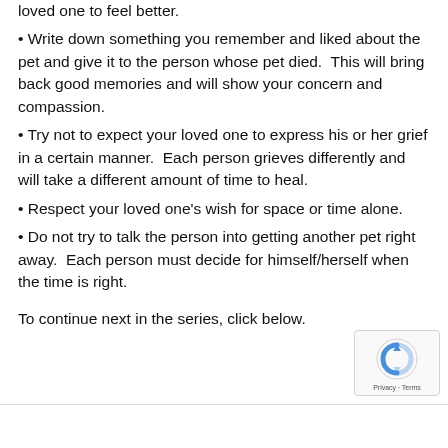loved one to feel better.
• Write down something you remember and liked about the pet and give it to the person whose pet died.  This will bring back good memories and will show your concern and compassion.
• Try not to expect your loved one to express his or her grief in a certain manner.  Each person grieves differently and will take a different amount of time to heal.
• Respect your loved one's wish for space or time alone.
• Do not try to talk the person into getting another pet right away.  Each person must decide for himself/herself when the time is right.
To continue next in the series, click below.